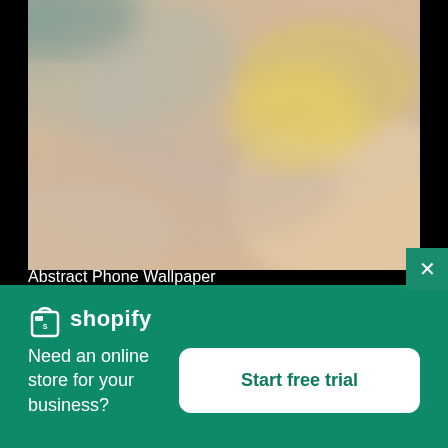[Figure (photo): Abstract blurred swirl artwork with soft peach, cream, yellow, and teal tones resembling marble or fluid paint]
Abstract Phone Wallpaper
[Figure (logo): Shopify logo: white shopping bag icon with 'shopify' text in white]
Need an online store for your business?
Start free trial